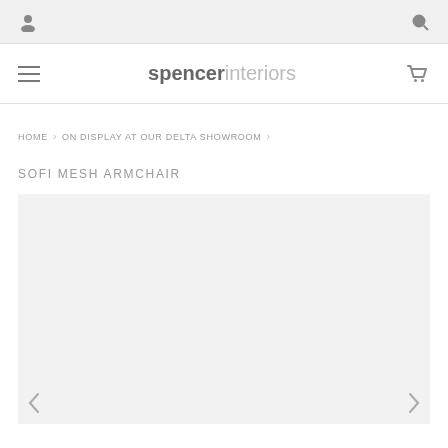Spencer Interiors — top navigation bar with user icon and search icon
spencerinteriors — main navigation bar with hamburger menu and cart icon
HOME › ON DISPLAY AT OUR DELTA SHOWROOM ›
SOFI MESH ARMCHAIR
[Figure (photo): Large light-grey product image placeholder area for the Sofi Mesh Armchair, with left and right navigation arrows at the bottom corners]